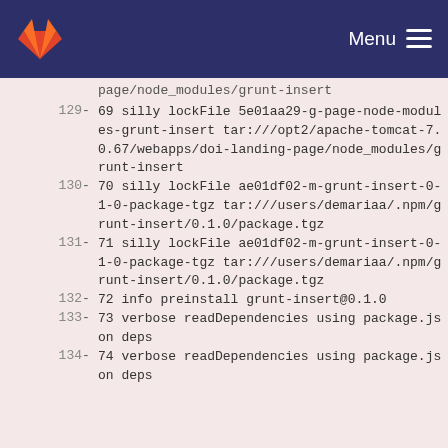GitLab — Menu
page/node_modules/grunt-insert
129 - 69 silly lockFile 5e01aa29-g-page-node-modules-grunt-insert tar:///opt2/apache-tomcat-7.0.67/webapps/doi-landing-page/node_modules/grunt-insert
130 - 70 silly lockFile ae01df02-m-grunt-insert-0-1-0-package-tgz tar:///users/demariaa/.npm/grunt-insert/0.1.0/package.tgz
131 - 71 silly lockFile ae01df02-m-grunt-insert-0-1-0-package-tgz tar:///users/demariaa/.npm/grunt-insert/0.1.0/package.tgz
132 - 72 info preinstall grunt-insert@0.1.0
133 - 73 verbose readDependencies using package.json deps
134 - 74 verbose readDependencies using package.json deps